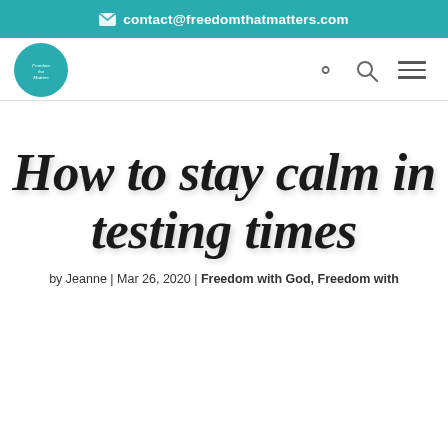✉ contact@freedomthatmatters.com
[Figure (logo): Circular teal logo with script text 'Freedom that Matters']
How to stay calm in testing times
by Jeanne | Mar 26, 2020 | Freedom with God, Freedom with